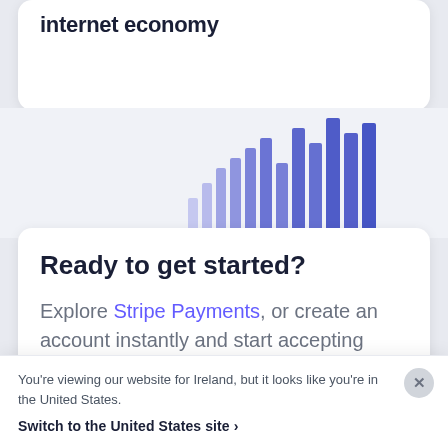internet economy
[Figure (bar-chart): Partial bar chart with vertical purple/violet gradient bars of varying heights, cropped, shown against a light gray background]
Ready to get started?
Explore Stripe Payments, or create an account instantly and start accepting
You're viewing our website for Ireland, but it looks like you're in the United States.
Switch to the United States site >